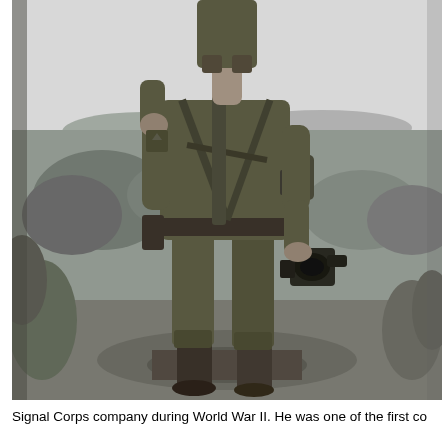[Figure (photo): Black and white photograph of a WWII-era soldier standing outdoors. The soldier is dressed in military fatigues with full gear including straps and equipment across the chest. He is holding a movie/film camera in his right hand at his side. He stands on what appears to be a tree stump or log, with a rural, hilly landscape and trees in the background. The photo is cropped at the head — only the body from the shoulders/lower neck down is visible.]
Signal Corps company during World War II. He was one of the first co